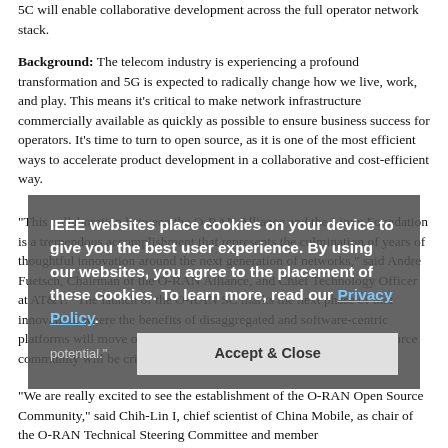5C will enable collaborative development across the full operator network stack.
Background:  The telecom industry is experiencing a profound transformation and 5G is expected to radically change how we live, work, and play. This means it's critical to make network infrastructure commercially available as quickly as possible to ensure business success for operators. It's time to turn to open source, as it is one of the most efficient ways to accelerate product development in a collaborative and cost-efficient way.
“This collaboration between the O-RAN Alliance and the Linux Foundation is a tremendous accomplishment that represents the culmination of years of thoughtful innovation around the next generation of networks,” said Andre Fuetsch, Chairman of the O-RAN Alliance, and Chief Technology Officer at AT&T. “The launch of the O-RAN SC marks the next phase of that innovation, where the benefits of disaggregated and software-centric platforms will move out to the edge of the network. This new open source community will be critical if 5G is to reach its full potential.”
IEEE websites place cookies on your device to give you the best user experience. By using our websites, you agree to the placement of these cookies. To learn more, read our Privacy Policy.
Accept & Close
“We are really excited to see the establishment of the O-RAN Open Source Community,” said Chih-Lin I, chief scientist of China Mobile, as chair of the O-RAN Technical Steering Committee and member